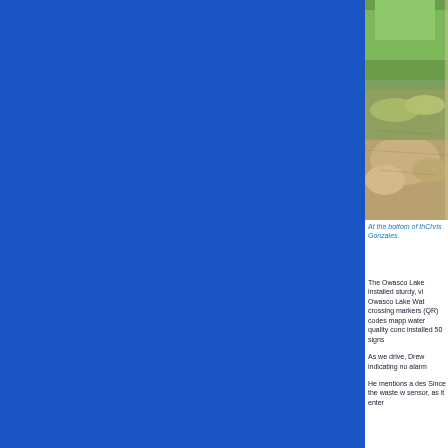[Figure (photo): Photograph of a field or grassland area, showing green and dry/brown patchy grass from an overhead or angled perspective.]
At the bottom of th... Chris Gonzales.
The Owasco Lake... installed sturdy, vi... Owasco Lake Wat... crossing markers ... (QR) codes mapp... water quality conc... installed 50 signs ...
As we drive, Drew... indicating no alarm...
He mentions a des... Since the waste w... sensor, as it enter...